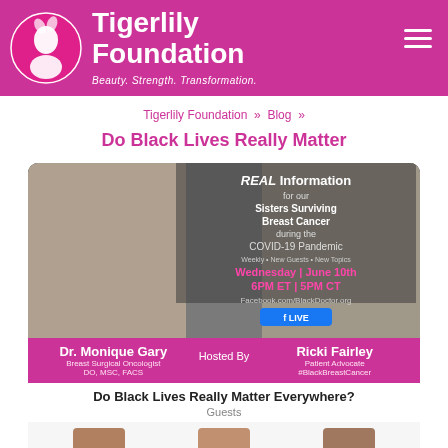[Figure (logo): Tigerlily Foundation logo — circular emblem with white female silhouette on pink circle, with brand name 'Tigerlily Foundation' and tagline 'Beauty. Strength. Transformation.']
Tigerlily Foundation | Beauty. Strength. Transformation.
Tigerlily Foundation » Blog »
Do Black Lives Really Matter
[Figure (infographic): Promotional event graphic with two women (Dr. Monique Gary and Ricki Fairley) on a dark background. Text reads: REAL Information for our Sisters Surviving Breast Cancer during the COVID-19 Pandemic. Weekly • New Guests • New Topics. Wednesday | June 10th 6PM ET | 5PM CT. Facebook.com/BlackDoctor.org. Facebook LIVE. Dr. Monique Gary, Breast Surgical Oncologist, DO, MSC, FACS. Hosted By. Ricki Fairley, Patient Advocate, #BlackBreastCancer.]
Do Black Lives Really Matter Everywhere?
Guests